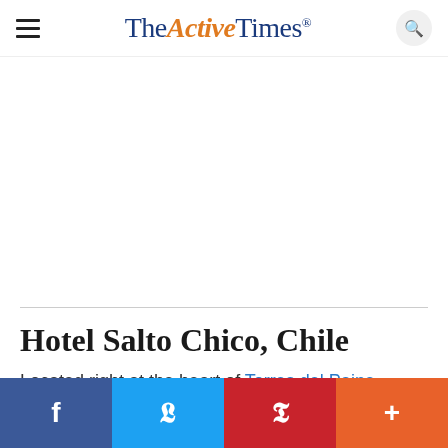TheActiveTimes
[Figure (other): Advertisement / blank white space area]
Hotel Salto Chico, Chile
Located right at the heart of Torres del Paine
Social share bar: Facebook, Twitter, Pinterest, More